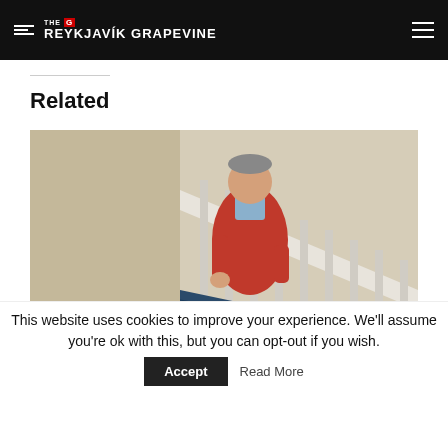THE REYKJAVÍK GRAPEVINE
Related
[Figure (photo): A man in a red jacket standing on stairs with white railings, photographed outdoors.]
A Slice of Icelandic Christmas Through the Ages
This website uses cookies to improve your experience. We'll assume you're ok with this, but you can opt-out if you wish.
Accept  Read More